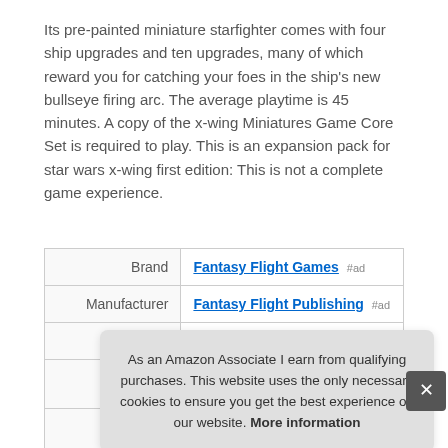Its pre-painted miniature starfighter comes with four ship upgrades and ten upgrades, many of which reward you for catching your foes in the ship's new bullseye firing arc. The average playtime is 45 minutes. A copy of the x-wing Miniatures Game Core Set is required to play. This is an expansion pack for star wars x-wing first edition: This is not a complete game experience.
|  |  |
| --- | --- |
| Brand | Fantasy Flight Games #ad |
| Manufacturer | Fantasy Flight Publishing #ad |
| Height | 4 Inches |
As an Amazon Associate I earn from qualifying purchases. This website uses the only necessary cookies to ensure you get the best experience on our website. More information